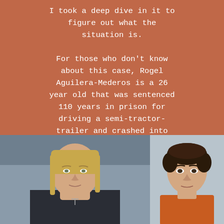I took a deep dive in it to figure out what the situation is.

For those who don't know about this case, Rogel Aguilera-Mederos is a 26 year old that was sentenced 110 years in prison for driving a semi-tractor-trailer and crashed into traffic killing four people.

He was not drunk or under the influence, his brakes on
[Figure (photo): Two photos side by side. Left: a middle-aged woman with straight blonde hair wearing a dark jacket with a cross necklace, looking at the camera with a neutral expression, blurred background. Right: a young man with dark curly hair wearing an orange shirt, appearing to be a booking/mugshot photo.]